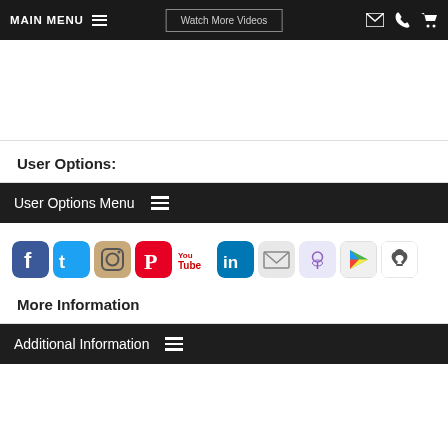MAIN MENU   Watch More Videos
User Options:
User Options Menu
[Figure (screenshot): Row of social media and app store icons: Facebook, Twitter, Instagram, Pinterest, YouTube, LinkedIn, Email, Podcast, Google Play, Apple App Store]
More Information
Additional Information